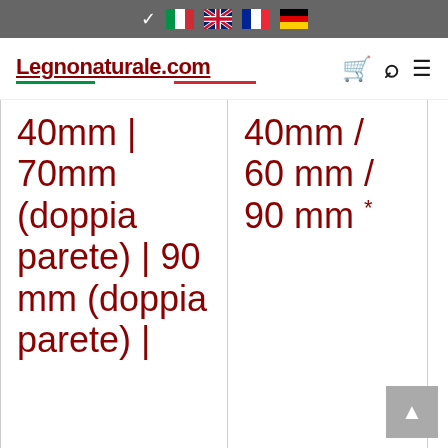Legnonaturale.com — navigation bar with language flags and site icons
40mm | 70mm (doppia parete) | 90 mm (doppia parete) |
40mm / 60 mm / 90 mm *